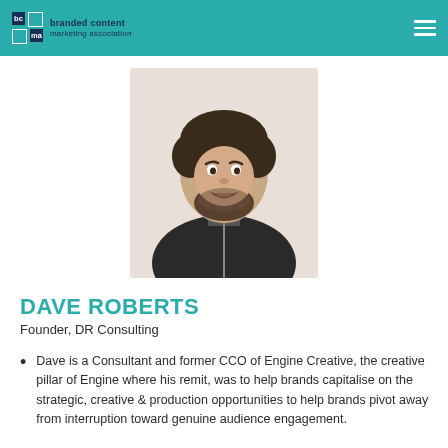branded content marketing association
[Figure (photo): Headshot photo of Dave Roberts, a man with short dark hair and beard wearing a dark jacket, smiling against a white background.]
DAVE ROBERTS
Founder, DR Consulting
Dave is a Consultant and former CCO of Engine Creative, the creative pillar of Engine where his remit, was to help brands capitalise on the strategic, creative & production opportunities to help brands pivot away from interruption toward genuine audience engagement.